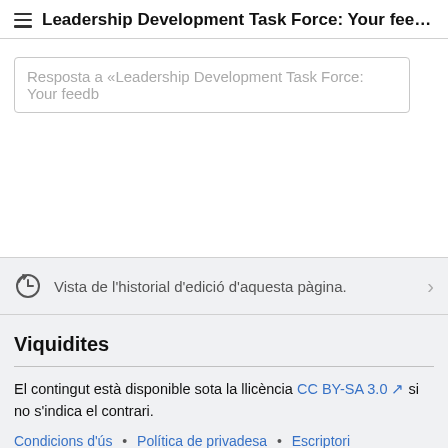Leadership Development Task Force: Your feedback is...
Resposta a «Leadership Development Task Force: Your feedb
Vista de l'historial d'edició d'aquesta pàgina.
Viquidites
El contingut està disponible sota la llicència CC BY-SA 3.0 si no s'indica el contrari.
Condicions d'ús • Política de privadesa • Escriptori